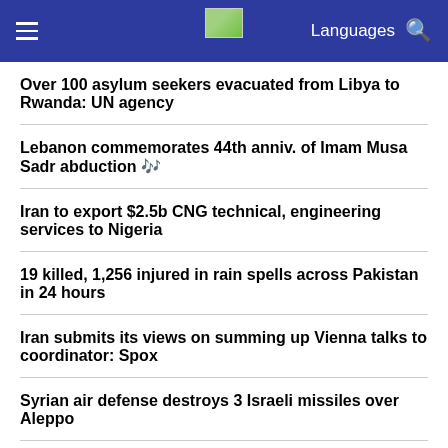≡  Languages 🔍
Over 100 asylum seekers evacuated from Libya to Rwanda: UN agency
Lebanon commemorates 44th anniv. of Imam Musa Sadr abduction 🎞
Iran to export $2.5b CNG technical, engineering services to Nigeria
19 killed, 1,256 injured in rain spells across Pakistan in 24 hours
Iran submits its views on summing up Vienna talks to coordinator: Spox
Syrian air defense destroys 3 Israeli missiles over Aleppo
Ukraine conflict stems from west's unilateralism: Iran's Defense minister